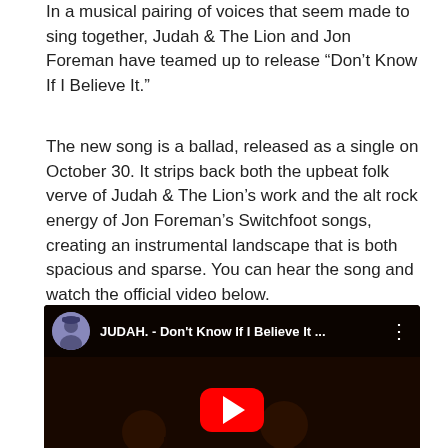In a musical pairing of voices that seem made to sing together, Judah & The Lion and Jon Foreman have teamed up to release “Don’t Know If I Believe It.”
The new song is a ballad, released as a single on October 30. It strips back both the upbeat folk verve of Judah & The Lion’s work and the alt rock energy of Jon Foreman’s Switchfoot songs, creating an instrumental landscape that is both spacious and sparse. You can hear the song and watch the official video below.
[Figure (screenshot): Embedded YouTube video player showing JUDAH. - Don't Know If I Believe It music video with play button overlay and band playing in dark setting. Text overlay reads DON'T KNOW IF I BELIEVE IT.]